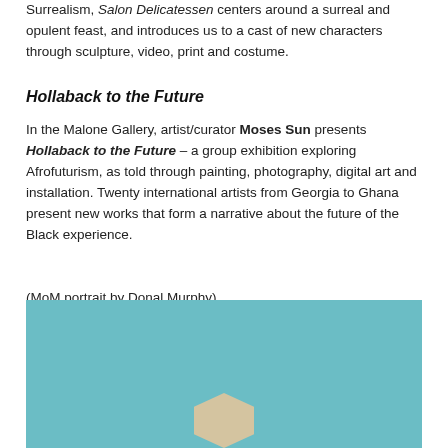Surrealism, Salon Delicatessen centers around a surreal and opulent feast, and introduces us to a cast of new characters through sculpture, video, print and costume.
Hollaback to the Future
In the Malone Gallery, artist/curator Moses Sun presents Hollaback to the Future – a group exhibition exploring Afrofuturism, as told through painting, photography, digital art and installation. Twenty international artists from Georgia to Ghana present new works that form a narrative about the future of the Black experience.
(MoM portrait by Donal Murphy)
[Figure (photo): Photograph showing a geometric hexagonal/cubic shape on a teal/turquoise background, partially cropped at bottom of page.]